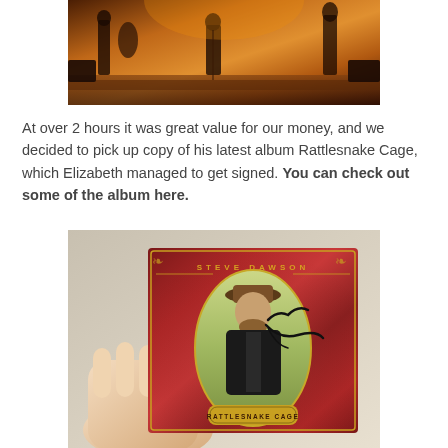[Figure (photo): Concert stage photo showing musicians performing on a warmly lit stage with orange/amber lighting]
At over 2 hours it was great value for our money, and we decided to pick up copy of his latest album Rattlesnake Cage, which Elizabeth managed to get signed. You can check out some of the album here.
[Figure (photo): Photo of a hand holding a signed CD album cover for 'Rattlesnake Cage' by Steve Dawson, featuring an autograph on the cover art]